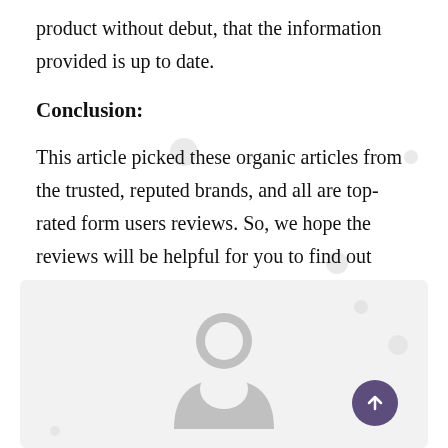product without debut, that the information provided is up to date.
Conclusion:
This article picked these organic articles from the trusted, reputed brands, and all are top-rated form users reviews. So, we hope the reviews will be helpful for you to find out your perfect Best Office Glass Door.
[Figure (illustration): Grey user/avatar silhouette icon inside a light grey rounded rectangle box. A purple scroll-to-top arrow button appears in the bottom-right corner.]